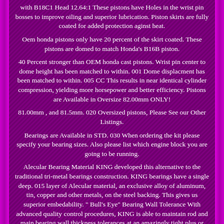with B18C1 Head 12.64:1 These pistons have Holes in the wrist pin bosses to improve oiling and superior lubrication. Piston skirts are fully coated for added protection aginst heat.
Oem honda pistons only have 20 percent of the skirt coated. These pistons are domed to match Honda's B16B piston.
40 Percent stronger than OEM honda cast pistons. Wrist pin center to dome height has been matched to within. 001 Dome displacment has been matched to within. 005 CC This results in near identical cylinder compression, yielding more horsepower and better efficiency. Pistons are Available in Oversize 82.00mm ONLY!
81.00mm , and 81.5mm. 020 Oversized pistons, Please See our Other Listings.
Bearings are Available in STD. 030 When ordering the kit please specify your bearing sizes. Also please list which engine block you are going to be running.
Alecular Bearing Material KING developed this alternative to the traditional tri-metal bearings construction. KING bearings have a single deep. 015 layer of Alecular material, an exclusive alloy of aluminum, tin, copper and other metals, on the steel backing. This gives us superior embedability. " Bull's Eye" Bearing Wall Tolerance With advanced quality control procedures, KING is able to maintain rod and main bearing wall thickness tolerances at an amazingly tight plus or minus